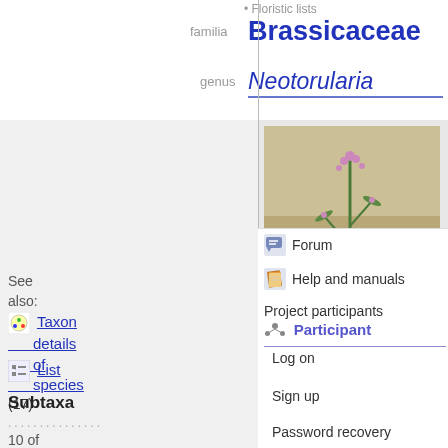Floristic lists
familia   Brassicaceae
genus   Neotorularia
[Figure (photo): Photograph of Neotorularia plant with small pink/purple flowers and slender stems against a sandy/rocky ground background]
See also:
Taxon details of species (17)
List
Subtaxa
10 of
Forum
Help and manuals
Project participants
Participant
Log on
Sign up
Password recovery